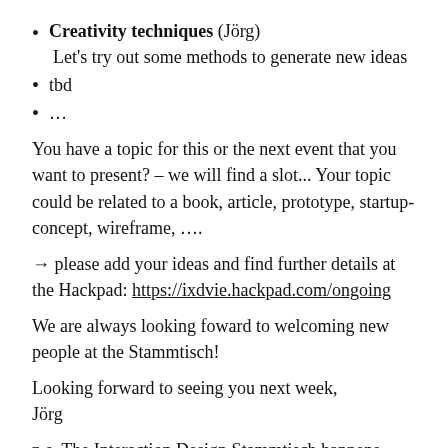Creativity techniques (Jörg)
Let's try out some methods to generate new ideas
tbd
...
You have a topic for this or the next event that you want to present? – we will find a slot... Your topic could be related to a book, article, prototype, startup-concept, wireframe, ....
→ please add your ideas and find further details at the Hackpad: https://ixdvie.hackpad.com/ongoing
We are always looking foward to welcoming new people at the Stammtisch!
Looking forward to seeing you next week,
Jörg
p.s. The Interaction Design Stammtisch happens